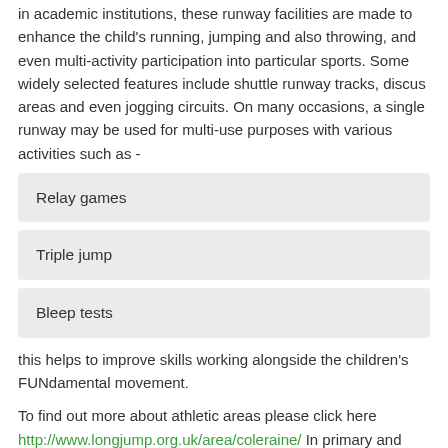in academic institutions, these runway facilities are made to enhance the child's running, jumping and also throwing, and even multi-activity participation into particular sports. Some widely selected features include shuttle runway tracks, discus areas and even jogging circuits. On many occasions, a single runway may be used for multi-use purposes with various activities such as -
Relay games
Triple jump
Bleep tests
this helps to improve skills working alongside the children's FUNdamental movement.
To find out more about athletic areas please click here http://www.longjump.org.uk/area/coleraine/ In primary and secondary schools that cannot have a full-sized track, this really makes a great alternative that is more affordable along with takes